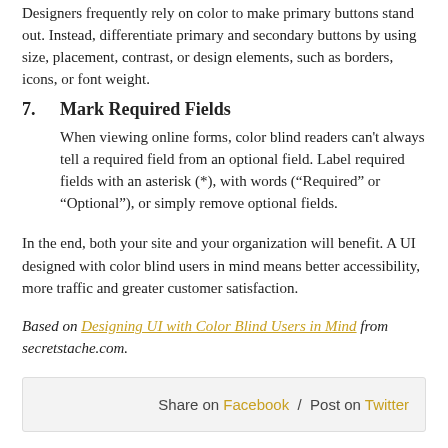Designers frequently rely on color to make primary buttons stand out. Instead, differentiate primary and secondary buttons by using size, placement, contrast, or design elements, such as borders, icons, or font weight.
7. Mark Required Fields
When viewing online forms, color blind readers can't always tell a required field from an optional field. Label required fields with an asterisk (*), with words (“Required” or “Optional”), or simply remove optional fields.
In the end, both your site and your organization will benefit. A UI designed with color blind users in mind means better accessibility, more traffic and greater customer satisfaction.
Based on Designing UI with Color Blind Users in Mind from secretstache.com.
Share on Facebook  /  Post on Twitter